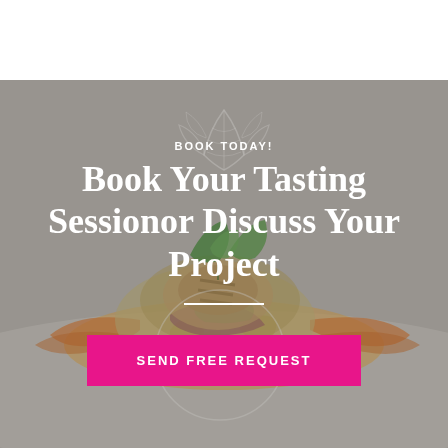[Figure (photo): Background photo of an elaborate plated food dish — stacked salad with carrots, greens, mint leaves, and colorful vegetables on a light gray/white background. Gray-toned overlay makes the image muted.]
BOOK TODAY!
Book Your Tasting Sessionor Discuss Your Project
SEND FREE REQUEST